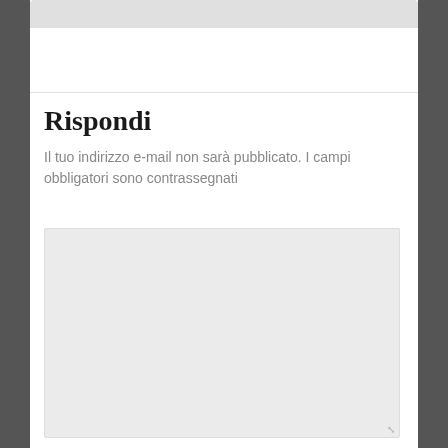Rispondi
Il tuo indirizzo e-mail non sarà pubblicato. I campi obbligatori sono contrassegnati
[Figure (other): Large light grey textarea input box for user comment entry, with a resize handle at the bottom right corner.]